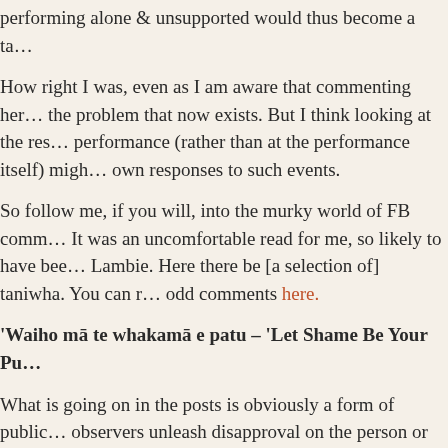performing alone & unsupported would thus become a ta…
How right I was, even as I am aware that commenting her… the problem that now exists. But I think looking at the res… performance (rather than at the performance itself) migh… own responses to such events.
So follow me, if you will, into the murky world of FB comm… It was an uncomfortable read for me, so likely to have bee… Lambie. Here there be [a selection of] taniwha. You can r… odd comments here.
'Waiho mā te whakamā e patu – 'Let Shame Be Your Pu…
What is going on in the posts is obviously a form of public… observers unleash disapproval on the person or persons w… socio-cultural line. The effect of the shaming is expected b… persons don't do the sanctioned behaviour again, and her… warning to all others to not do the same lest they also be…
…